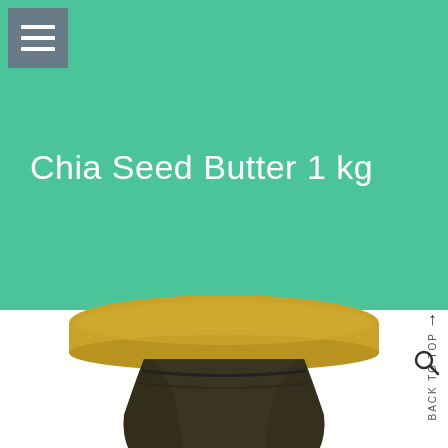[Figure (screenshot): Green teal banner header with hamburger menu icon in top-left gray square button]
Chia Seed Butter 1 kg
[Figure (photo): Top portion of a dark glass jar with a gold/yellow metallic lid, partially visible neck and shoulder of jar]